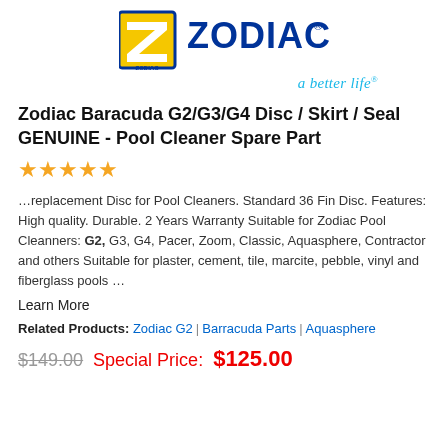[Figure (logo): Zodiac brand logo with yellow square containing Z emblem and blue ZODIAC text with registered trademark symbol, and italic cyan tagline 'a better life']
Zodiac Baracuda G2/G3/G4 Disc / Skirt / Seal GENUINE - Pool Cleaner Spare Part
★★★★★
…replacement Disc for Pool Cleaners. Standard 36 Fin Disc. Features: High quality. Durable. 2 Years Warranty Suitable for Zodiac Pool Cleanners: G2, G3, G4, Pacer, Zoom, Classic, Aquasphere, Contractor and others Suitable for plaster, cement, tile, marcite, pebble, vinyl and fiberglass pools …
Learn More
Related Products: Zodiac G2 | Barracuda Parts | Aquasphere
$149.00  Special Price: $125.00